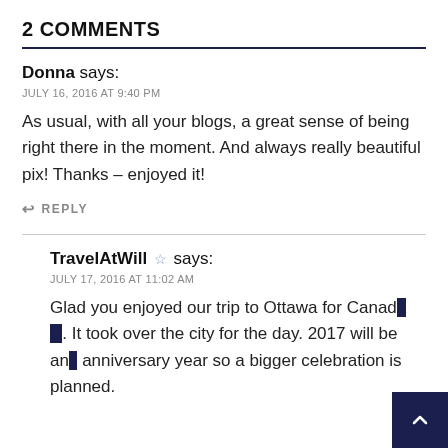2 COMMENTS
Donna says:
JULY 16, 2016 AT 9:40 PM
As usual, with all your blogs, a great sense of being right there in the moment. And always really beautiful pix! Thanks – enjoyed it!
↩ REPLY
TravelAtWill ☆ says:
JULY 17, 2016 AT 11:02 AM
Glad you enjoyed our trip to Ottawa for Canada D... It took over the city for the day. 2017 will be an anniversary year so a bigger celebration is planned.